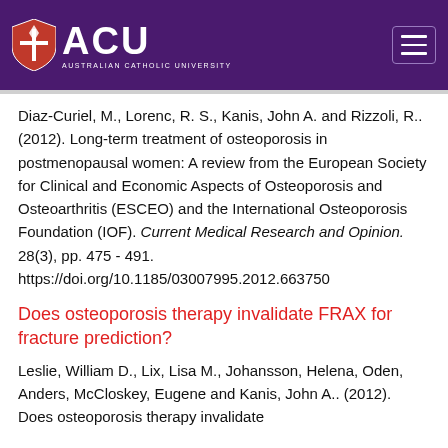[Figure (logo): Australian Catholic University (ACU) logo with purple header background and hamburger menu icon]
Diaz-Curiel, M., Lorenc, R. S., Kanis, John A. and Rizzoli, R.. (2012). Long-term treatment of osteoporosis in postmenopausal women: A review from the European Society for Clinical and Economic Aspects of Osteoporosis and Osteoarthritis (ESCEO) and the International Osteoporosis Foundation (IOF). Current Medical Research and Opinion. 28(3), pp. 475 - 491. https://doi.org/10.1185/03007995.2012.663750
Does osteoporosis therapy invalidate FRAX for fracture prediction?
Leslie, William D., Lix, Lisa M., Johansson, Helena, Oden, Anders, McCloskey, Eugene and Kanis, John A.. (2012). Does osteoporosis therapy invalidate